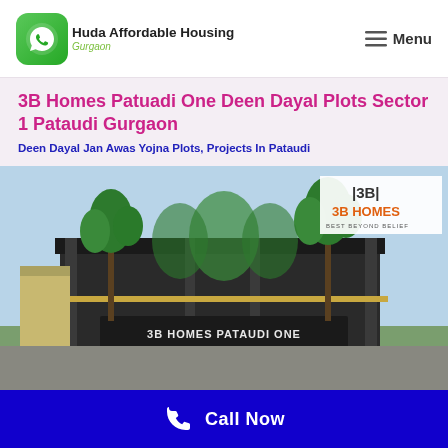Huda Affordable Housing Gurgaon | Menu
3B Homes Patuadi One Deen Dayal Plots Sector 1 Pataudi Gurgaon
Deen Dayal Jan Awas Yojna Plots, Projects In Pataudi
[Figure (photo): Exterior rendering of 3B Homes Pataudi One entrance gate with palm trees and greenery. Logo visible in upper right corner: 3B HOMES BEST BEYOND BELIEF]
Call Now